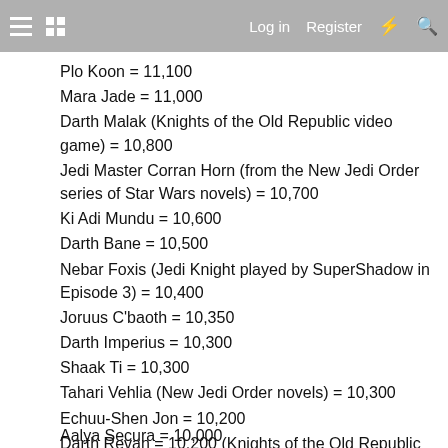Log in   Register
Plo Koon = 11,100
Mara Jade = 11,000
Darth Malak (Knights of the Old Republic video game) = 10,800
Jedi Master Corran Horn (from the New Jedi Order series of Star Wars novels) = 10,700
Ki Adi Mundu = 10,600
Darth Bane = 10,500
Nebar Foxis (Jedi Knight played by SuperShadow in Episode 3) = 10,400
Joruus C'baoth = 10,350
Darth Imperius = 10,300
Shaak Ti = 10,300
Tahari Vehlia (New Jedi Order novels) = 10,300
Echuu-Shen Jon = 10,200
Darth Revan = 10,200 (Knights of the Old Republic video game)
Jedi Master Kam Solusar (New Jedi Order novels) = 10,100
Aalya Secura = 10,000